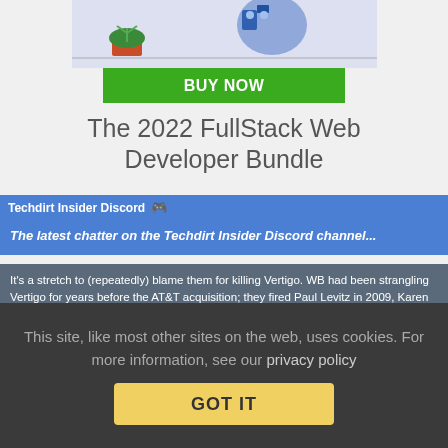[Figure (illustration): Top portion of a promotional ad image showing a plant and blue robot/character illustration]
BUY NOW
The 2022 FullStack Web Developer Bundle
Techdirt Insider Discord
The latest chatter on the Techdirt Insider Discord channel...
It's a stretch to (repeatedly) blame them for killing Vertigo. WB had been strangling Vertigo for years before the AT&T acquisition; they fired Paul Levitz in 2009, Karen Berger in 2012, and Shelly Bond in 2016. By the time AT&T bought Time Warner, all that was left of Vertigo was a logo in the corner.
But, to be fair, AT&T definitely killed that logo.
This site, like most other sites on the web, uses cookies. For more information, see our privacy policy
GOT IT